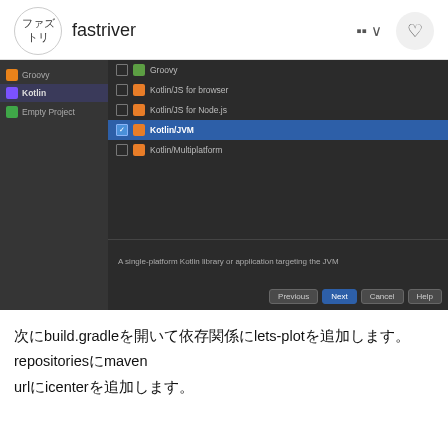ファズトリ fastriver
[Figure (screenshot): IntelliJ IDEA new project wizard screenshot showing a dark-themed IDE with left sidebar listing Kotlin and Empty Project, and right panel showing project type options: Groovy, Kotlin/JS for browser, Kotlin/JS for Node.js, Kotlin/JVM (selected/highlighted in blue), Kotlin/Multiplatform. Description text reads: A single-platform Kotlin library or application targeting the JVM. Bottom buttons: Previous, Next, Cancel, Help.]
次にbuild.gradleを開いて依存関係にlets-plotを追加します。repositoriesにmavenurl「icenter」を追加します。